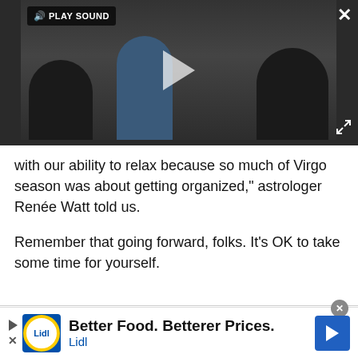[Figure (screenshot): Embedded video player with dark background showing silhouettes of people in a meeting. A play button triangle is centered. A 'PLAY SOUND' button appears top-left. An X close button is top-right. A fullscreen icon is bottom-right.]
with our ability to relax because so much of Virgo season was about getting organized," astrologer Renée Watt told us.
Remember that going forward, folks. It's OK to take some time for yourself.
[Figure (screenshot): Lidl advertisement banner: 'Better Food. Betterer Prices.' with Lidl logo and blue navigation arrow icon. Close button (X) in circle at top-right of ad.]